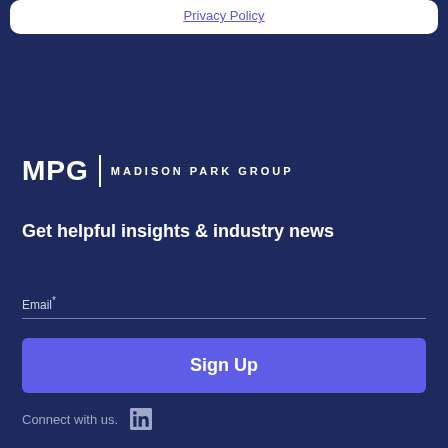Privacy Policy
[Figure (logo): MPG | MADISON PARK GROUP logo in white text on dark navy background]
Get helpful insights & industry news
Email*
Sign Up
Connect with us.